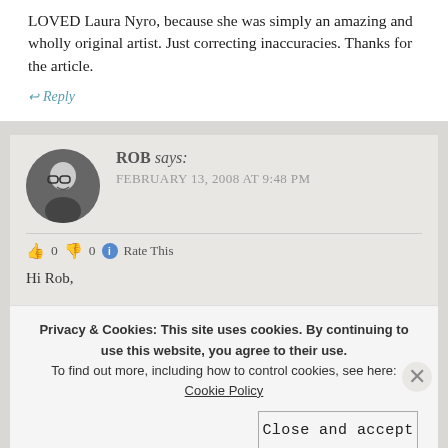LOVED Laura Nyro, because she was simply an amazing and wholly original artist. Just correcting inaccuracies. Thanks for the article.
↩ Reply
ROB says: FEBRUARY 13, 2008 AT 9:48 PM
👍 0 👎 0 ℹ Rate This
Hi Rob,
Privacy & Cookies: This site uses cookies. By continuing to use this website, you agree to their use. To find out more, including how to control cookies, see here: Cookie Policy
Close and accept